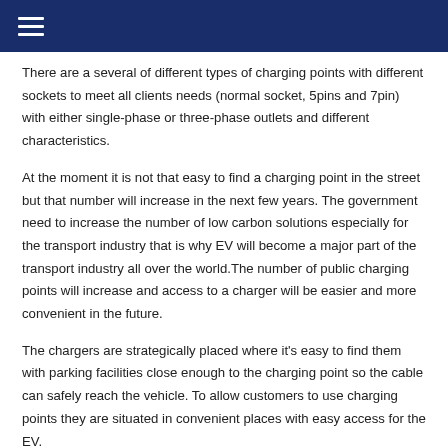≡
There are a several of different types of charging points with different sockets to meet all clients needs (normal socket, 5pins and 7pin) with either single-phase or three-phase outlets and different characteristics.
At the moment it is not that easy to find a charging point in the street but that number will increase in the next few years. The government need to increase the number of low carbon solutions especially for the transport industry that is why EV will become a major part of the transport industry all over the world.The number of public charging points will increase and access to a charger will be easier and more convenient in the future.
The chargers are strategically placed where it's easy to find them with parking facilities close enough to the charging point so the cable can safely reach the vehicle. To allow customers to use charging points they are situated in convenient places with easy access for the EV.
Commercial Charging Points